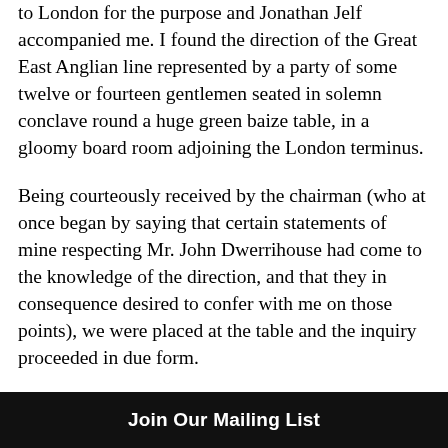to London for the purpose and Jonathan Jelf accompanied me. I found the direction of the Great East Anglian line represented by a party of some twelve or fourteen gentlemen seated in solemn conclave round a huge green baize table, in a gloomy board room adjoining the London terminus.
Being courteously received by the chairman (who at once began by saying that certain statements of mine respecting Mr. John Dwerrihouse had come to the knowledge of the direction, and that they in consequence desired to confer with me on those points), we were placed at the table and the inquiry proceeded in due form.
I was first asked if I knew Mr. John Dwerrihouse, how long I had been acquainted with him, and whether I could identify him at sight. I was then asked when I had seen him last. To which I replied, “On the 4th of this present month, December, 1856.” Then came the inquiry of where I had seen him on that fourth
Join Our Mailing List